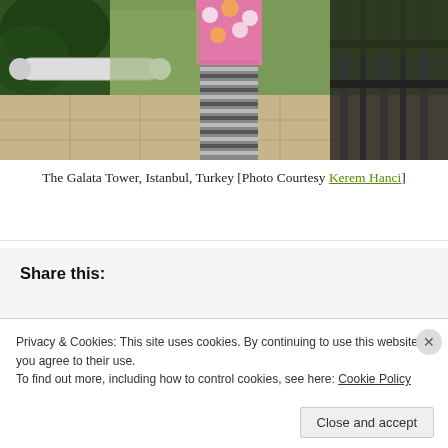[Figure (photo): Outdoor photo showing a person wearing a pink floral top and striped pants, standing near ornate dark iron railings; white pipe/cylinder visible at left; green foliage and tiled floor in background. Galata Tower area, Istanbul, Turkey.]
The Galata Tower, Istanbul, Turkey [Photo Courtesy Kerem Hanci]
Share this:
Privacy & Cookies: This site uses cookies. By continuing to use this website, you agree to their use.
To find out more, including how to control cookies, see here: Cookie Policy
Close and accept